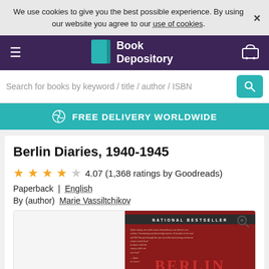We use cookies to give you the best possible experience. By using our website you agree to our use of cookies.
[Figure (screenshot): Book Depository website navigation bar with logo, hamburger menu, and cart icon]
Search for books by keyword / title / author / ISBN
FREE DELIVERY WORLDWIDE
Berlin Diaries, 1940-1945
4.07 (1,368 ratings by Goodreads)
Paperback  |  English
By (author)  Marie Vassiltchikov
[Figure (photo): Book cover of Berlin Diaries showing the title in large red text on a dark background with review quote text, marked as National Bestseller]